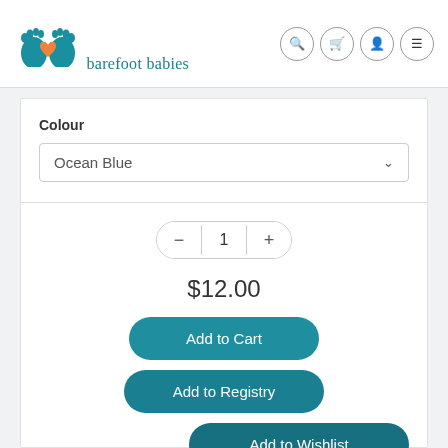[Figure (logo): Barefoot Babies logo with two teal footprint silhouettes and an orange heart, with the text 'barefoot babies' below in teal serif font]
Colour
Ocean Blue
1
$12.00
Add to Cart
Add to Registry
Add to Wishlist